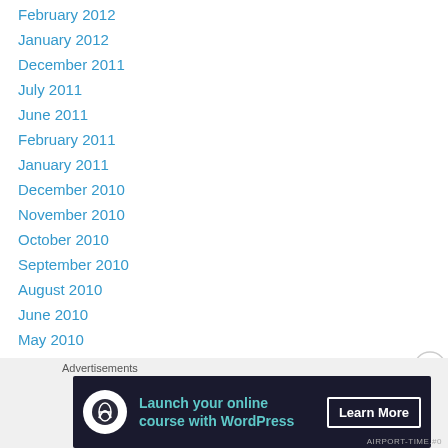February 2012
January 2012
December 2011
July 2011
June 2011
February 2011
January 2011
December 2010
November 2010
October 2010
September 2010
August 2010
June 2010
May 2010
April 2010
March 2010
Advertisements
[Figure (infographic): Advertisement banner: Launch your online course with WordPress – Learn More button, dark background with teal text and white circle icon]